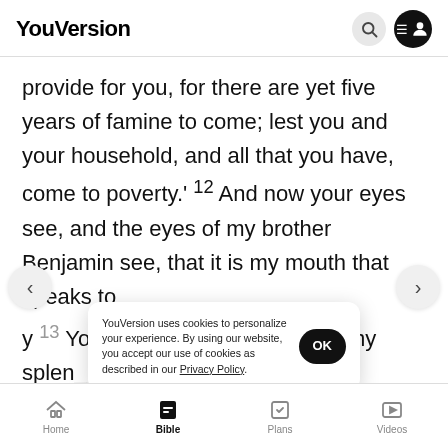YouVersion
provide for you, for there are yet five years of famine to come; lest you and your household, and all that you have, come to poverty.' 12 And now your eyes see, and the eyes of my brother Benjamin see, that it is my mouth that speaks to y 13 You must tell my father of all my splendor in Egypt, and bring
YouVersion uses cookies to personalize your experience. By using our website, you accept our use of cookies as described in our Privacy Policy.
Home   Bible   Plans   Videos